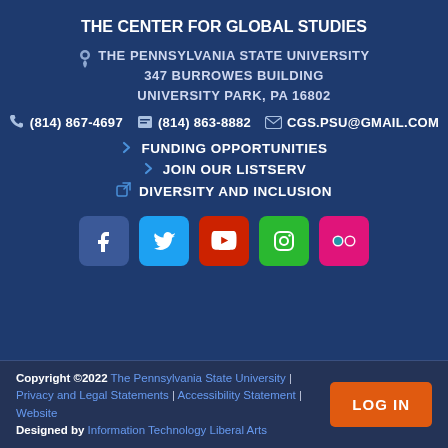THE CENTER FOR GLOBAL STUDIES
THE PENNSYLVANIA STATE UNIVERSITY
347 BURROWES BUILDING
UNIVERSITY PARK, PA 16802
(814) 867-4697  (814) 863-8882  CGS.PSU@GMAIL.COM
FUNDING OPPORTUNITIES
JOIN OUR LISTSERV
DIVERSITY AND INCLUSION
[Figure (other): Social media icons: Facebook, Twitter, YouTube, Instagram, Flickr]
Copyright ©2022 The Pennsylvania State University | Privacy and Legal Statements | Accessibility Statement | Website Designed by Information Technology Liberal Arts  LOG IN